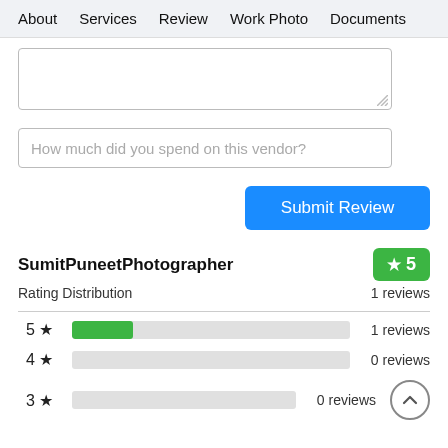About   Services   Review   Work Photo   Documents
[Figure (screenshot): Textarea input box (partially visible, empty)]
How much did you spend on this vendor?
Submit Review
SumitPuneetPhotographer
★5  1 reviews
Rating Distribution
5 ★  1 reviews
4 ★  0 reviews
3 ★  0 reviews